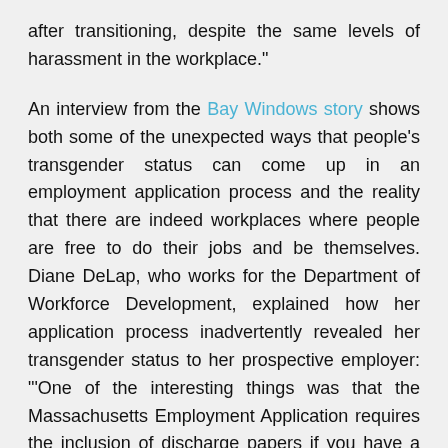after transitioning, despite the same levels of harassment in the workplace."
An interview from the Bay Windows story shows both some of the unexpected ways that people's transgender status can come up in an employment application process and the reality that there are indeed workplaces where people are free to do their jobs and be themselves. Diane DeLap, who works for the Department of Workforce Development, explained how her application process inadvertently revealed her transgender status to her prospective employer: "'One of the interesting things was that the Massachusetts Employment Application requires the inclusion of discharge papers if you have a history in the military,' DeLap said. She had served in the Navy for four years, and included her discharge papers with her application. 'Of course, the military doesn't change names for anything,' DeLap said, laughing, 'so it had my old name on there and all the other papers had the new name on there, so the fact that I was transgender became a topic of discussion very early in the hiring